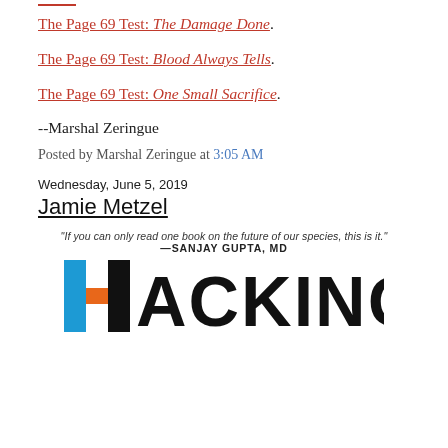The Page 69 Test: The Damage Done.
The Page 69 Test: Blood Always Tells.
The Page 69 Test: One Small Sacrifice.
--Marshal Zeringue
Posted by Marshal Zeringue at 3:05 AM
Wednesday, June 5, 2019
Jamie Metzel
[Figure (photo): Book cover for 'Hacking' with quote 'If you can only read one book on the future of our species, this is it.' —Sanjay Gupta, MD and the word HACKING in large bold letters with a stylized H in blue and orange]